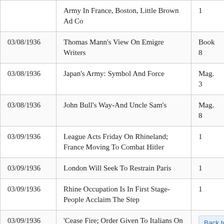| Date | Title | Page |
| --- | --- | --- |
|  | Army In France, Boston, Little Brown Ad Co | 1 |
| 03/08/1936 | Thomas Mann's View On Emigre Writers | Book 8 |
| 03/08/1936 | Japan's Army: Symbol And Force | Mag. 3 |
| 03/08/1936 | John Bull's Way-And Uncle Sam's | Mag. 8 |
| 03/09/1936 | League Acts Friday On Rhineland; France Moving To Combat Hitler | 1 |
| 03/09/1936 | London Will Seek To Restrain Paris | 1 |
| 03/09/1936 | Rhine Occupation Is In First Stage-People Acclaim The Step | 1 |
| 03/09/1936 | 'Cease Fire; Order Given To Italians On Ethiopia Fronts |  |
| 03/09/1936 | European War Unlikely, Is Senator Borah's View | 2 |